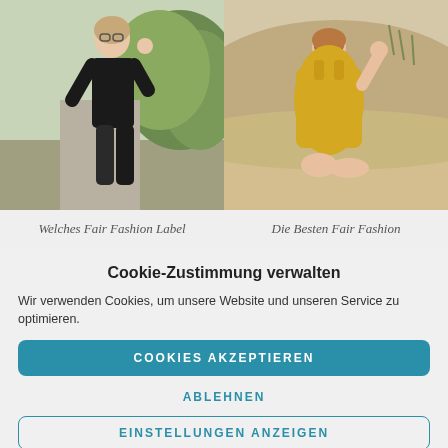[Figure (photo): Two fashion photos side by side: left shows a woman in black outfit on a green path, right shows a woman in yellow dress on a sandy beach]
Welches Fair Fashion Label
Die Besten Fair Fashion
Cookie-Zustimmung verwalten
Wir verwenden Cookies, um unsere Website und unseren Service zu optimieren.
COOKIES AKZEPTIEREN
ABLEHNEN
EINSTELLUNGEN ANZEIGEN